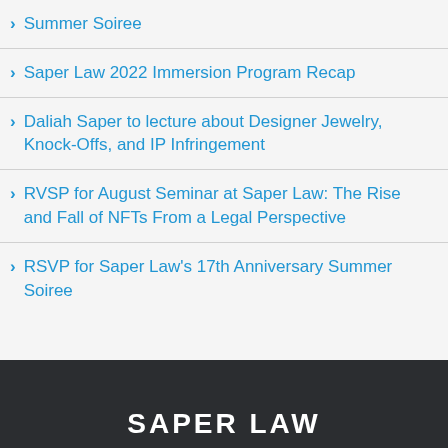Summer Soiree
Saper Law 2022 Immersion Program Recap
Daliah Saper to lecture about Designer Jewelry, Knock-Offs, and IP Infringement
RVSP for August Seminar at Saper Law: The Rise and Fall of NFTs From a Legal Perspective
RSVP for Saper Law's 17th Anniversary Summer Soiree
SAPER LAW